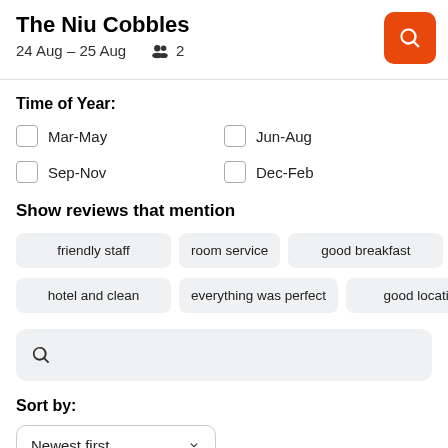The Niu Cobbles
24 Aug – 25 Aug   2
Time of Year:
Mar-May
Jun-Aug
Sep-Nov
Dec-Feb
Show reviews that mention
friendly staff
room service
good breakfast
hotel and clean
everything was perfect
good location
Sort by:
Newest first